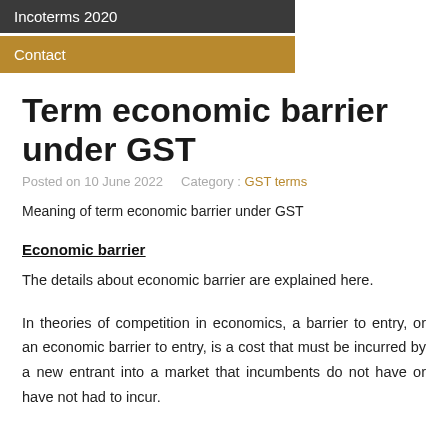Incoterms 2020
Contact
Term economic barrier under GST
Posted on 10 June 2022    Category : GST terms
Meaning of term economic barrier under GST
Economic barrier
The details about economic barrier are explained here.
In theories of competition in economics, a barrier to entry, or an economic barrier to entry, is a cost that must be incurred by a new entrant into a market that incumbents do not have or have not had to incur.